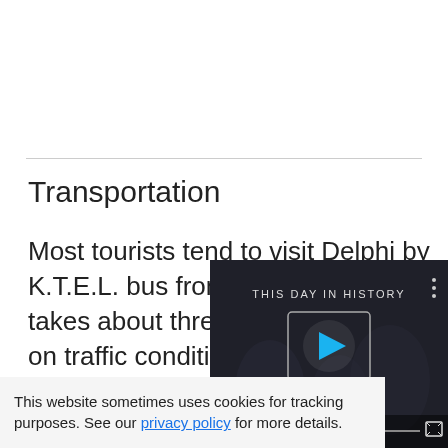Transportation
Most tourists tend to visit Delphi by K.T.E.L. bus from Athens, which takes about three hours depending on traffic conditions. The trip is doable in one day, but it will be a busy one! Tickets for buses in Delphi are available in some of shops near the bus pick up/drop off site, though yo from an attendant
[Figure (screenshot): Video player overlay showing 'THIS DAY IN HISTORY' with an AUGUST label, play button, mute button, and playback controls on a dark background]
This website sometimes uses cookies for tracking purposes. See our privacy policy for more details.